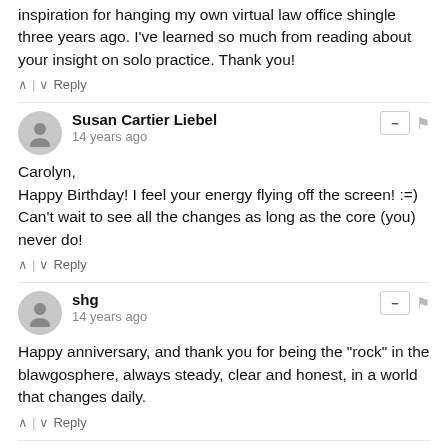inspiration for hanging my own virtual law office shingle three years ago. I've learned so much from reading about your insight on solo practice. Thank you!
∧ | ∨ Reply
Susan Cartier Liebel
14 years ago
Carolyn,
Happy Birthday! I feel your energy flying off the screen! :=)
Can't wait to see all the changes as long as the core (you) never do!
∧ | ∨ Reply
shg
14 years ago
Happy anniversary, and thank you for being the "rock" in the blawgosphere, always steady, clear and honest, in a world that changes daily.
∧ | ∨ Reply
Eric Turkewitz
14 years ago